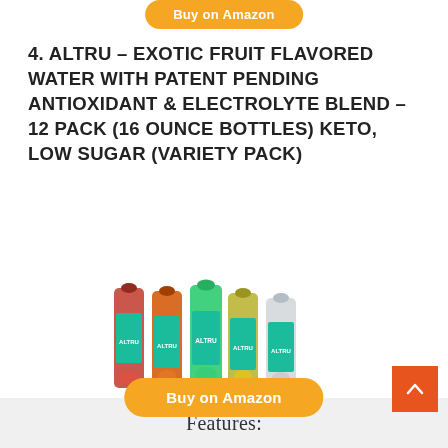Buy on Amazon
4. ALTRU – EXOTIC FRUIT FLAVORED WATER WITH PATENT PENDING ANTIOXIDANT & ELECTROLYTE BLEND – 12 PACK (16 OUNCE BOTTLES) KETO, LOW SUGAR (VARIETY PACK)
[Figure (photo): Multiple ALTRU flavored water bottles arranged in a group showing different fruit flavors with teal/green labels]
Buy on Amazon
Features: